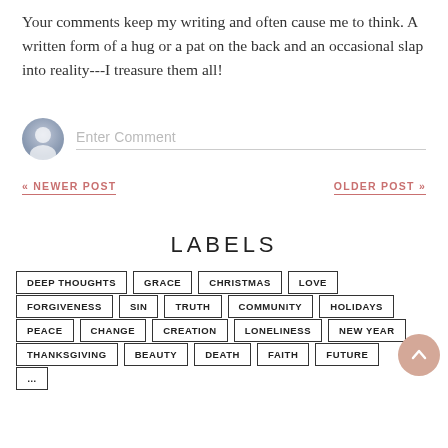Your comments keep my writing and often cause me to think. A written form of a hug or a pat on the back and an occasional slap into reality---I treasure them all!
Enter Comment
« NEWER POST
OLDER POST »
LABELS
DEEP THOUGHTS
GRACE
CHRISTMAS
LOVE
FORGIVENESS
SIN
TRUTH
COMMUNITY
HOLIDAYS
PEACE
CHANGE
CREATION
LONELINESS
NEW YEAR
THANKSGIVING
BEAUTY
DEATH
FAITH
FUTURE